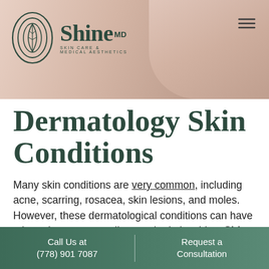[Figure (photo): Header banner with Shine MD skin care logo on a warm pinkish-beige background with a partial photo of a person. Hamburger menu icon in top right.]
Dermatology Skin Conditions
Many skin conditions are very common, including acne, scarring, rosacea, skin lesions, and moles. However, these dermatological conditions can have a large impact on our lives and relationships. Shine MD is dedicated to providing physician-led treatment plans to our patients in a space that is safe, accepting, and inclusive to people of all skin types.
Call Us at (778) 901 7087 | Request a Consultation